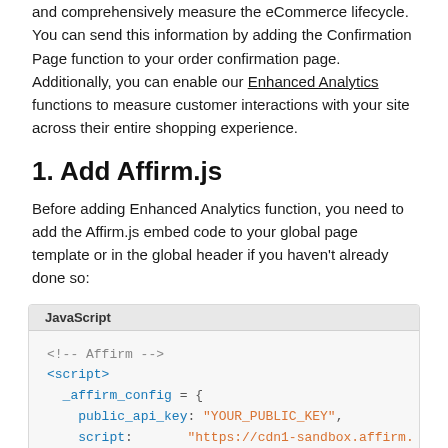and comprehensively measure the eCommerce lifecycle. You can send this information by adding the Confirmation Page function to your order confirmation page. Additionally, you can enable our Enhanced Analytics functions to measure customer interactions with your site across their entire shopping experience.
1. Add Affirm.js
Before adding Enhanced Analytics function, you need to add the Affirm.js embed code to your global page template or in the global header if you haven't already done so:
[Figure (screenshot): Code block labeled 'JavaScript' showing HTML/JS snippet: <!-- Affirm --> <script> _affirm_config = { public_api_key: "YOUR_PUBLIC_KEY", script: "https://cdn1-sandbox.affirm. }; ]